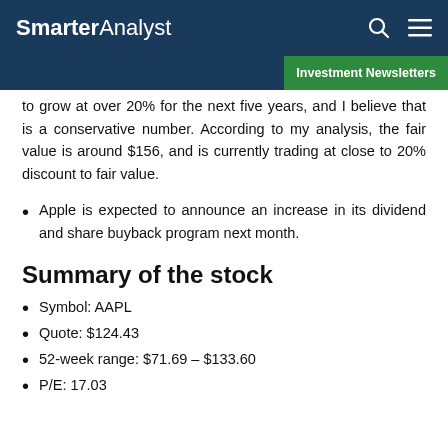SmarterAnalyst
Investment Newsletters
to grow at over 20% for the next five years, and I believe that is a conservative number. According to my analysis, the fair value is around $156, and is currently trading at close to 20% discount to fair value.
Apple is expected to announce an increase in its dividend and share buyback program next month.
Summary of the stock
Symbol: AAPL
Quote: $124.43
52-week range: $71.69 – $133.60
P/E: 17.03